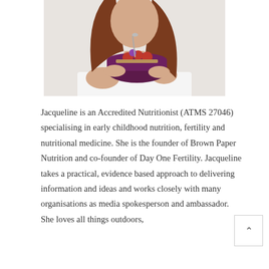[Figure (photo): A woman with long brown hair wearing a white top, holding a dark purple bowl filled with granola and fresh berries (raspberries and blueberries), holding a spoon. Shot from mid-torso up against a light background.]
Jacqueline is an Accredited Nutritionist (ATMS 27046) specialising in early childhood nutrition, fertility and nutritional medicine. She is the founder of Brown Paper Nutrition and co-founder of Day One Fertility. Jacqueline takes a practical, evidence based approach to delivering information and ideas and works closely with many organisations as media spokesperson and ambassador. She loves all things outdoors,